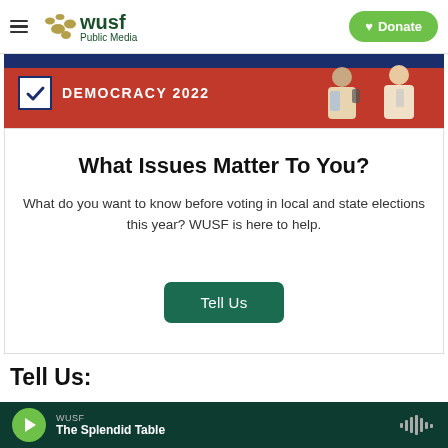WUSF Public Media — Donate
[Figure (screenshot): Democracy 2022 banner with checkbox icon, red background with blue top stripe, and illustrated figures of people on the right side]
What Issues Matter To You?
What do you want to know before voting in local and state elections this year? WUSF is here to help.
Tell Us
Tell Us:
[Figure (screenshot): WUSF audio player bar showing 'The Splendid Table' with green play button and audio waveform icon]